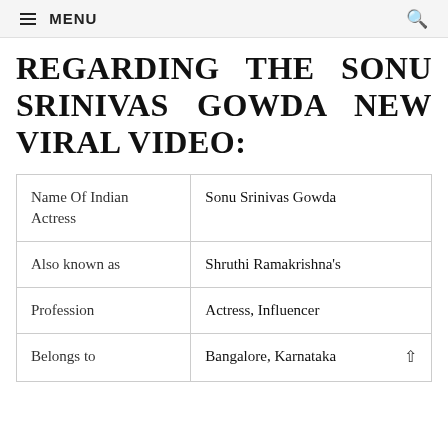≡ MENU 🔍
REGARDING THE SONU SRINIVAS GOWDA NEW VIRAL VIDEO:
| Name Of Indian Actress | Sonu Srinivas Gowda |
| Also known as | Shruthi Ramakrishna's |
| Profession | Actress, Influencer |
| Belongs to | Bangalore, Karnataka |